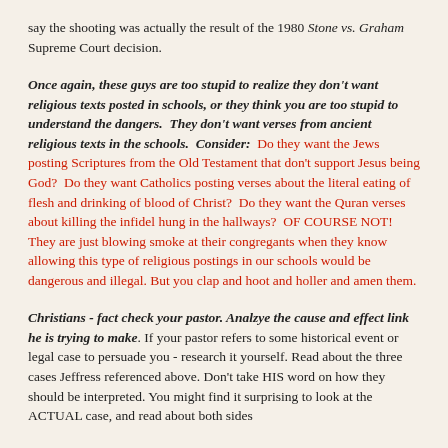say the shooting was actually the result of the 1980 Stone vs. Graham Supreme Court decision.
Once again, these guys are too stupid to realize they don't want religious texts posted in schools, or they think you are too stupid to understand the dangers. They don't want verses from ancient religious texts in the schools. Consider: Do they want the Jews posting Scriptures from the Old Testament that don't support Jesus being God? Do they want Catholics posting verses about the literal eating of flesh and drinking of blood of Christ? Do they want the Quran verses about killing the infidel hung in the hallways? OF COURSE NOT! They are just blowing smoke at their congregants when they know allowing this type of religious postings in our schools would be dangerous and illegal. But you clap and hoot and holler and amen them.
Christians - fact check your pastor. Analzye the cause and effect link he is trying to make. If your pastor refers to some historical event or legal case to persuade you - research it yourself. Read about the three cases Jeffress referenced above. Don't take HIS word on how they should be interpreted. You might find it surprising to look at the ACTUAL case, and read about both sides